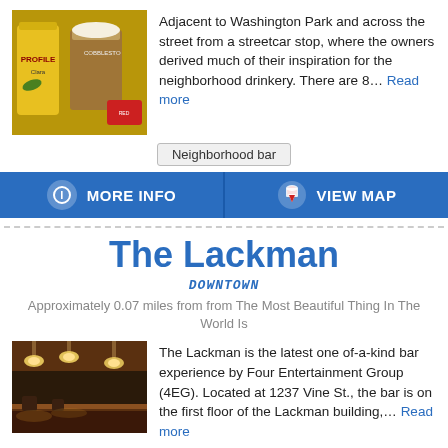[Figure (photo): Photo of beer cans and a glass of beer on a bar counter]
Adjacent to Washington Park and across the street from a streetcar stop, where the owners derived much of their inspiration for the neighborhood drinkery. There are 8... Read more
Neighborhood bar
MORE INFO
VIEW MAP
The Lackman
DOWNTOWN
Approximately 0.07 miles from from The Most Beautiful Thing In The World Is
[Figure (photo): Interior photo of The Lackman bar showing pendant lights and warm lighting]
The Lackman is the latest one of-a-kind bar experience by Four Entertainment Group (4EG). Located at 1237 Vine St., the bar is on the first floor of the Lackman building,... Read more